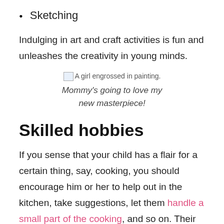Sketching
Indulging in art and craft activities is fun and unleashes the creativity in young minds.
[Figure (photo): A girl engrossed in painting. (broken image placeholder shown)]
Mommy's going to love my new masterpiece!
Skilled hobbies
If you sense that your child has a flair for a certain thing, say, cooking, you should encourage him or her to help out in the kitchen, take suggestions, let them handle a small part of the cooking, and so on. Their interest is bound to grow and in no time you will have